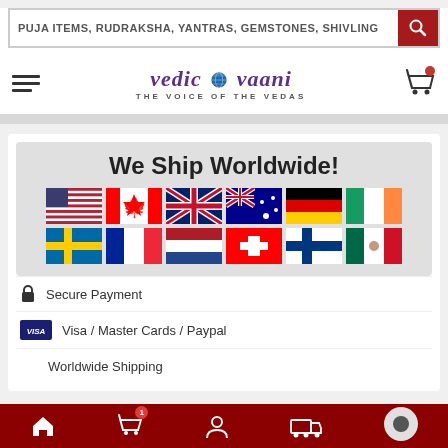PUJA ITEMS, RUDRAKSHA, YANTRAS, GEMSTONES, SHIVLING
[Figure (logo): Vedic Vaani logo — stylized purple text 'vedic vaani' with globe icon, tagline 'THE VOICE OF THE VEDAS']
[Figure (infographic): We Ship Worldwide! banner with flags of USA, Canada, UK, Australia, Germany, Ireland, Sweden, France, Netherlands, Switzerland, Finland, Mexico]
Secure Payment
Visa / Master Cards / Paypal
Worldwide Shipping